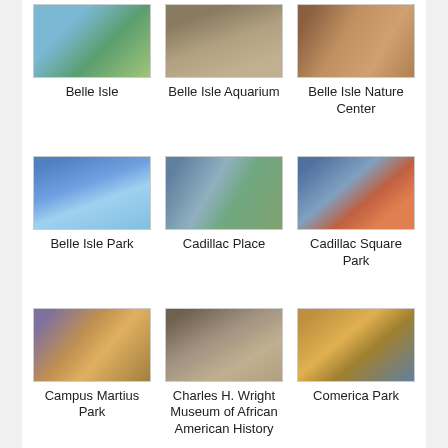[Figure (photo): Photo of Belle Isle showing a greenhouse/conservatory near water with green foliage]
Belle Isle
[Figure (photo): Photo of Belle Isle Aquarium building exterior, brick building with arched entrance]
Belle Isle Aquarium
[Figure (photo): Photo of Belle Isle Nature Center interior showing wooden floors]
Belle Isle Nature Center
[Figure (photo): Photo of Belle Isle Park showing a large fountain with blue sky]
Belle Isle Park
[Figure (photo): Photo of Cadillac Place, a large office building with trees in front]
Cadillac Place
[Figure (photo): Photo of Cadillac Square Park showing city street scene with tall buildings]
Cadillac Square Park
[Figure (photo): Photo of Campus Martius Park with people gathered, orange umbrellas, and a monument]
Campus Martius Park
[Figure (photo): Photo of Charles H. Wright Museum of African American History exterior entrance]
Charles H. Wright Museum of African American History
[Figure (photo): Photo of Comerica Park showing city skyline at dusk]
Comerica Park